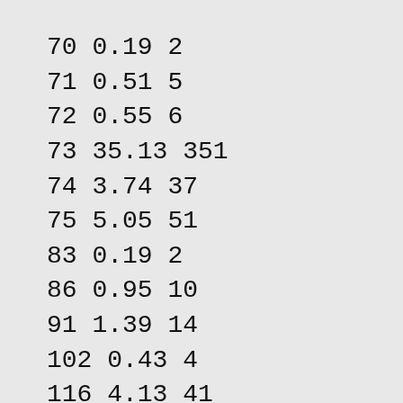| 67 | 0.26 | 5 |
| 70 | 0.19 | 2 |
| 71 | 0.51 | 5 |
| 72 | 0.55 | 6 |
| 73 | 35.13 | 351 |
| 74 | 3.74 | 37 |
| 75 | 5.05 | 51 |
| 83 | 0.19 | 2 |
| 86 | 0.95 | 10 |
| 91 | 1.39 | 14 |
| 102 | 0.43 | 4 |
| 116 | 4.13 | 41 |
| 117 | 1.59 | 16 |
| 128 | 0.9 | 9 |
| 129 | 6.83 | 68 |
| 130 | 1.66 | 17 |
| 133 | 0.31 | 3 |
| 139 | 5.04 | 50 |
| 141 | 0.2 | 2 |
| 142 | 0.72 | 7 |
| 143 | 1.99 | 19 |